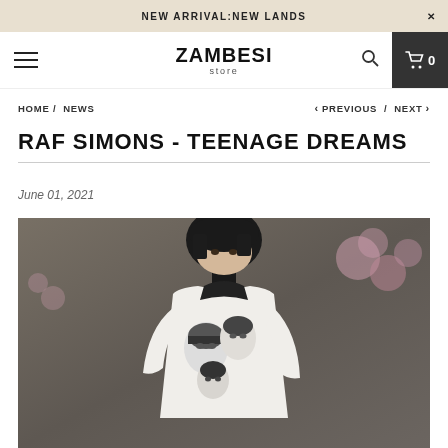NEW ARRIVAL:NEW LANDS
ZAMBESI store
HOME / NEWS  <  PREVIOUS / NEXT >
RAF SIMONS - TEENAGE DREAMS
June 01, 2021
[Figure (photo): A male model wearing a white Raf Simons sweater with black-and-white photo prints of faces on it, wearing a black turtleneck underneath, photographed outdoors against a stone wall with pink flowering plants.]